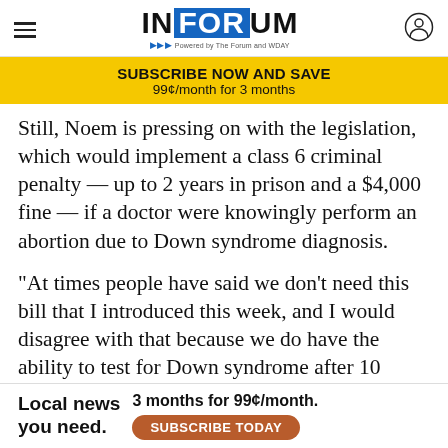INFORUM
SUBSCRIBE NOW AND SAVE
99¢/month for 3 months
Still, Noem is pressing on with the legislation, which would implement a class 6 criminal penalty — up to 2 years in prison and a $4,000 fine — if a doctor were knowingly perform an abortion due to Down syndrome diagnosis.
"At times people have said we don't need this bill that I introduced this week, and I would disagree with that because we do have the ability to test for Down syndrome after 10 weeks of pregnancy, and again at 15 weeks there is another test that is available," Noem said in a Thursday, Jan. 28 press confe
Local news you need.  3 months for 99¢/month.  SUBSCRIBE TODAY